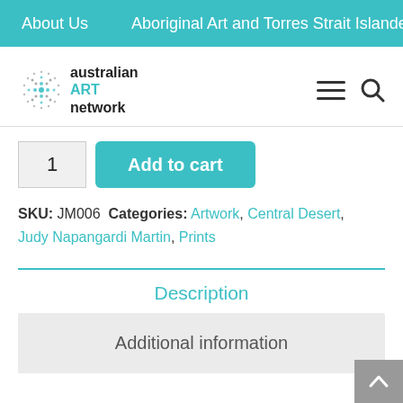About Us   Aboriginal Art and Torres Strait Islander Art
[Figure (logo): Australian Art Network logo with circular dot motif and teal ART text]
Add to cart (quantity: 1)
SKU: JM006  Categories: Artwork, Central Desert, Judy Napangardi Martin, Prints
Description
Additional information